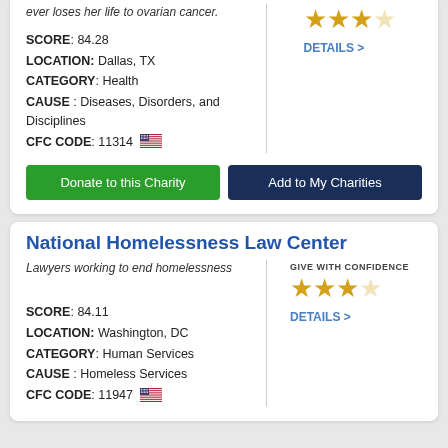ever loses her life to ovarian cancer.
SCORE: 84.28
LOCATION: Dallas, TX
CATEGORY: Health
CAUSE: Diseases, Disorders, and Disciplines
CFC CODE: 11314
[Figure (other): 3 out of 4 stars rating with GIVE WITH CONFIDENCE label and DETAILS > link]
Donate to this Charity
Add to My Charities
National Homelessness Law Center
Lawyers working to end homelessness
[Figure (other): 3 out of 4 stars rating with GIVE WITH CONFIDENCE label and DETAILS > link]
SCORE: 84.11
LOCATION: Washington, DC
CATEGORY: Human Services
CAUSE: Homeless Services
CFC CODE: 11947